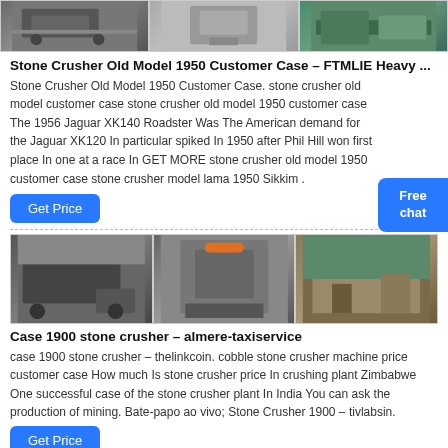[Figure (photo): Three stone crusher machine photos arranged horizontally at top of page]
Stone Crusher Old Model 1950 Customer Case – FTMLIE Heavy ...
Stone Crusher Old Model 1950 Customer Case. stone crusher old model customer case stone crusher old model 1950 customer case The 1956 Jaguar XK140 Roadster Was The American demand for the Jaguar XK120 In particular spiked In 1950 after Phil Hill won first place In one at a race In GET MORE stone crusher old model 1950 customer case stone crusher model lama 1950 Sikkim .
Get Price
Free chat
[Figure (photo): Three stone crusher machine photos arranged horizontally]
Case 1900 stone crusher – almere-taxiservice
case 1900 stone crusher – thelinkcoin. cobble stone crusher machine price customer case How much Is stone crusher price In crushing plant Zimbabwe One successful case of the stone crusher plant In India You can ask the production of mining. Bate-papo ao vivo; Stone Crusher 1900 – tivlabsin.
Get Price